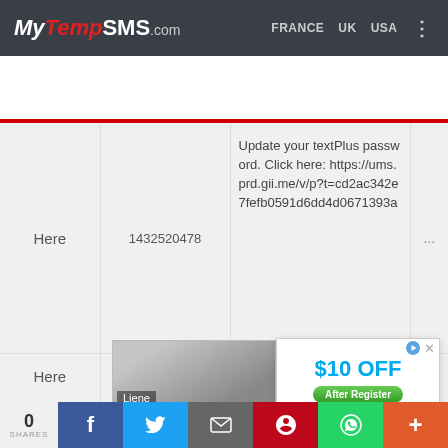MyTempSMS.com  FRANCE  UK  USA
|  | Number | Message |  |
| --- | --- | --- | --- |
| Here | 1432520478 | Update your textPlus password. Click here: https://ums.prd.gii.me/v/p?t=cd2ac342e7fefb0591d6dd4d0671393a | ... |
| Here | 1455555525 | Successfully deposited 1000... | ... |
[Figure (screenshot): Advertisement overlay showing $10 OFF After Register from www.liene-life.com, with play button and close button]
[Figure (photo): Product photo with label 'Liene' showing a printer or appliance on a wooden surface]
0 SHARES | f | Twitter | Email | P | WhatsApp | +